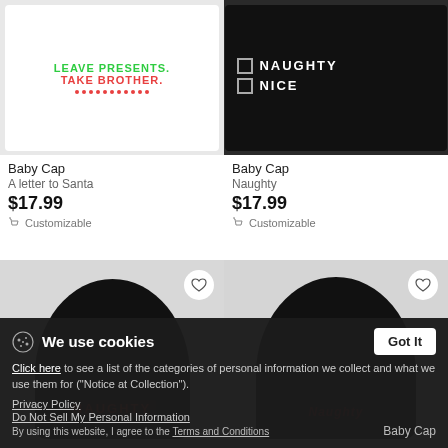[Figure (photo): Baby cap with white fabric showing 'LEAVE PRESENTS. TAKE BROTHER.' text in green and red with red dotted line]
[Figure (photo): Black baby cap with checkboxes next to NAUGHTY and NICE text in white]
Baby Cap
A letter to Santa
$17.99
Customizable
Baby Cap
Naughty
$17.99
Customizable
[Figure (photo): Black beanie hat with NAUGHTY text in red on dark background]
[Figure (photo): Black beanie hat with cursive naughty text embroidery in red]
We use cookies
Click here to see a list of the categories of personal information we collect and what we use them for ("Notice at Collection").
Privacy Policy
Do Not Sell My Personal Information
By using this website, I agree to the Terms and Conditions
Baby Cap
Got It